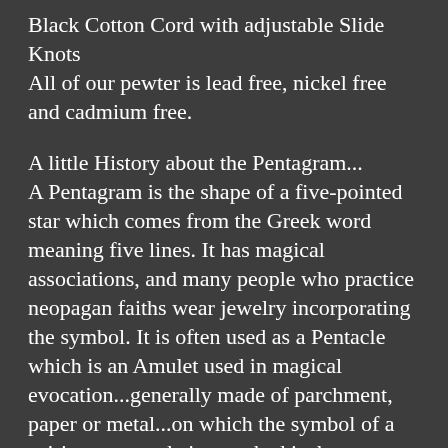Black Cotton Cord with adjustable Slide Knots
All of our pewter is lead free, nickel free and cadmium free.
A little History about the Pentagram...
A Pentagram is the shape of a five-pointed star which comes from the Greek word meaning five lines. It has magical associations, and many people who practice neopagan faiths wear jewelry incorporating the symbol. It is often used as a Pentacle which is an Amulet used in magical evocation...generally made of parchment, paper or metal...on which the symbol of a spirit or energy being evoked is drawn.
The text TET-RAG-RAM-MAT-ON is the unpronounceable Name of God.
Greek for "4 letters," it is a Hebrew name for God that is often only written because it is considered too holy